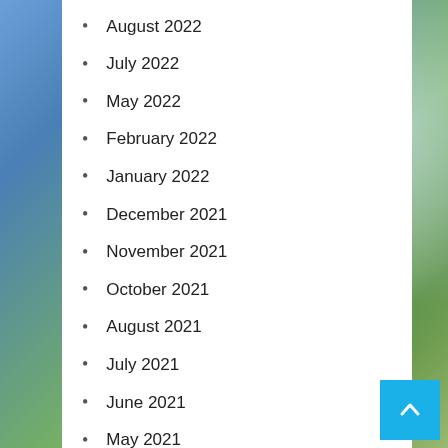August 2022
July 2022
May 2022
February 2022
January 2022
December 2021
November 2021
October 2021
August 2021
July 2021
June 2021
May 2021
April 2021